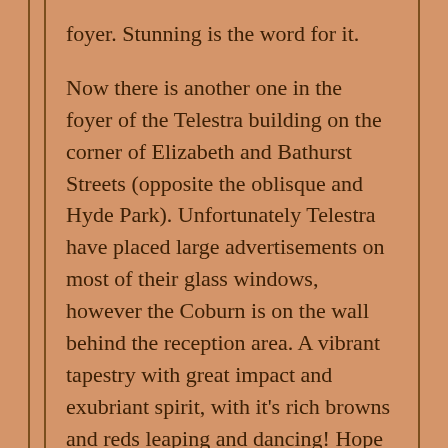foyer. Stunning is the word for it.

Now there is another one in the foyer of the Telestra building on the corner of Elizabeth and Bathurst Streets (opposite the oblisque and Hyde Park). Unfortunately Telestra have placed large advertisements on most of their glass windows, however the Coburn is on the wall behind the reception area. A vibrant tapestry with great impact and exubriant spirit, with it’s rich browns and reds leaping and dancing! Hope you get to see it!